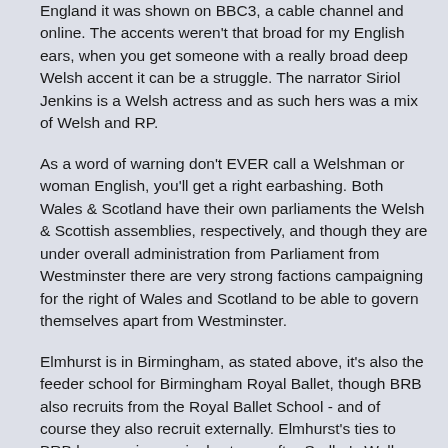England it was shown on BBC3, a cable channel and online. The accents weren't that broad for my English ears, when you get someone with a really broad deep Welsh accent it can be a struggle. The narrator Siriol Jenkins is a Welsh actress and as such hers was a mix of Welsh and RP.
As a word of warning don't EVER call a Welshman or woman English, you'll get a right earbashing. Both Wales & Scotland have their own parliaments the Welsh & Scottish assemblies, respectively, and though they are under overall administration from Parliament from Westminster there are very strong factions campaigning for the right of Wales and Scotland to be able to govern themselves apart from Westminster.
Elmhurst is in Birmingham, as stated above, it's also the feeder school for Birmingham Royal Ballet, though BRB also recruits from the Royal Ballet School - and of course they also recruit externally. Elmhurst's ties to BRB became increasingly strong after Sadler's Wells Royal Ballet moved to Birmingham in 1990 and became the Birmingham Royal. Desmond Kelly, Samira Saidi, Dominic Antonucci, Marion Tait who were seen in the documentary were all once principals with Sadlers